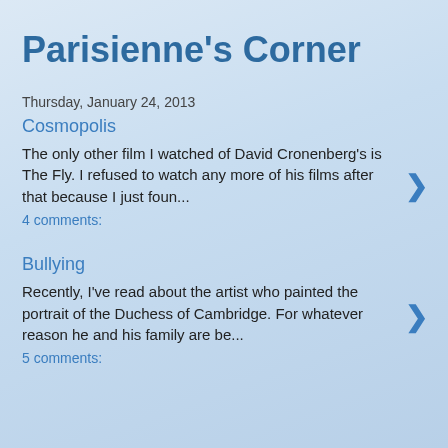Parisienne's Corner
Thursday, January 24, 2013
Cosmopolis
The only other film I watched of David Cronenberg's is The Fly.  I refused to watch any more of his films after that because I just foun...
4 comments:
Bullying
Recently, I've read about the artist who painted the portrait of the Duchess of Cambridge.  For whatever reason he and his family are be...
5 comments: